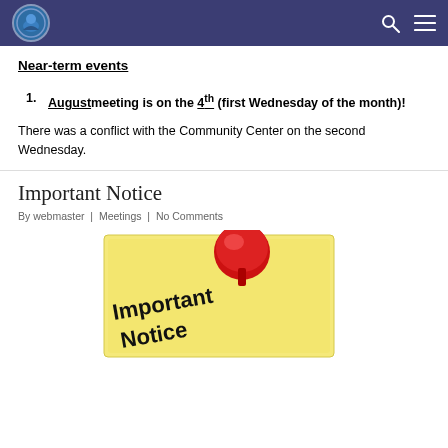[Logo] [Search icon] [Menu icon]
Near-term events
August meeting is on the 4th (first Wednesday of the month)!
There was a conflict with the Community Center on the second Wednesday.
Important Notice
By webmaster | Meetings | No Comments
[Figure (photo): Yellow sticky note with red thumbtack and text 'Important Notice']